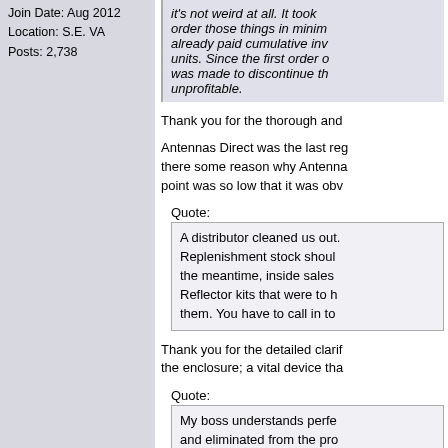Join Date: Aug 2012
Location: S.E. VA
Posts: 2,738
it's not weird at all. It took order those things in minim already paid cumulative inv units. Since the first order o was made to discontinue th unprofitable.
Thank you for the thorough and
Antennas Direct was the last reg there some reason why Antenna point was so low that it was obv
Quote:
A distributor cleaned us out. Replenishment stock shoul the meantime, inside sales Reflector kits that were to h them. You have to call in to
Thank you for the detailed clarif the enclosure; a vital device tha
Quote:
My boss understands perfe and eliminated from the pro related, our product lineup i support all of the obligation: in favor of that priority.